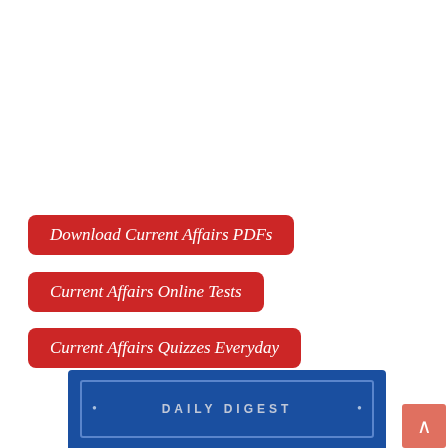Download Current Affairs PDFs
Current Affairs Online Tests
Current Affairs Quizzes Everyday
[Figure (infographic): Blue banner with inner border showing 'DAILY DIGEST' text and decorative bullet points]
[Figure (other): Salmon/coral colored scroll-to-top button with upward arrow]